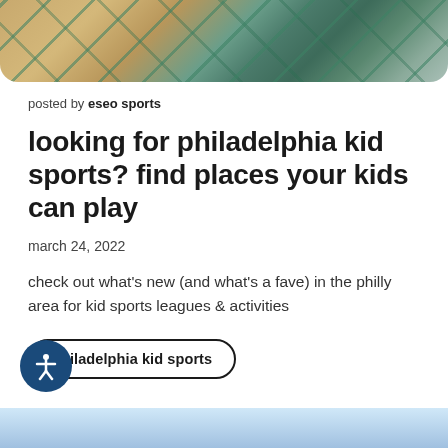[Figure (photo): Top portion of a gymnasium floor with green court lines on a wood-toned surface, partially visible, with rounded bottom corners]
posted by eseo sports
looking for philadelphia kid sports? find places your kids can play
march 24, 2022
check out what's new (and what's a fave) in the philly area for kid sports leagues & activities
philadelphia kid sports